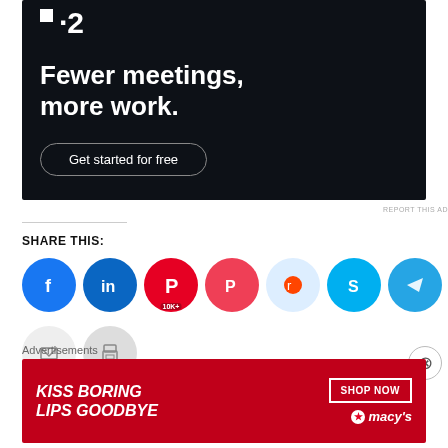[Figure (screenshot): Advertisement banner with dark background showing a productivity app logo ('·2'), headline 'Fewer meetings, more work.' and a 'Get started for free' button]
REPORT THIS AD
SHARE THIS:
[Figure (screenshot): Social sharing icon buttons: Facebook, LinkedIn, Pinterest (10K+), Pocket, Reddit, Skype, Telegram, Tumblr, Twitter, WhatsApp, Email, Print]
[Figure (screenshot): Bottom advertisement banner: 'KISS BORING LIPS GOODBYE' with 'SHOP NOW' button and Macy's logo on red background]